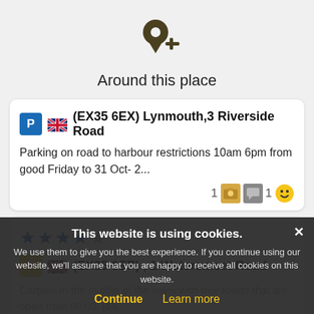[Figure (illustration): Dark olive/brown map pin with plus sign icon]
Around this place
🇬🇧 (EX35 6EX) Lynmouth,3 Riverside Road
Parking on road to harbour restrictions 10am 6pm from good Friday to 31 Oct- 2...
1 [photo icon] [comment icon] 1 [smiley icon]
★★★★☆
🇬🇧 (EX35 6EP) , 1 Watersmeet Road
Carpark in the middle of the valey with free toilets that are open from 09:00. (ba...
3 [icon] 3 [icon] 2 [icon]
This website is using cookies.
We use them to give you the best experience. If you continue using our website, we'll assume that you are happy to receive all cookies on this website.
Continue   Learn more